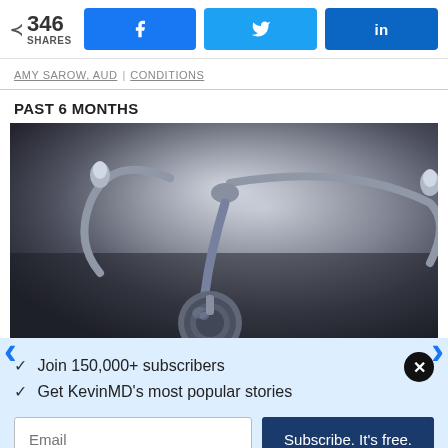346 SHARES | Facebook | Twitter | LinkedIn
AMY SAROW, AUD | CONDITIONS
PAST 6 MONTHS
[Figure (photo): Close-up photograph of a stethoscope on a dark surface, shown in muted blue-gray tones]
✓ Join 150,000+ subscribers
✓ Get KevinMD's most popular stories
Email  Subscribe. It's free.